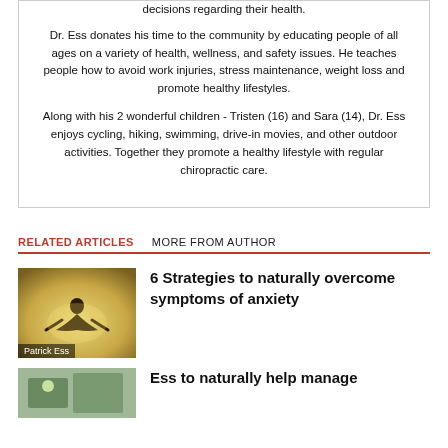decisions regarding their health.
Dr. Ess donates his time to the community by educating people of all ages on a variety of health, wellness, and safety issues. He teaches people how to avoid work injuries, stress maintenance, weight loss and promote healthy lifestyles.
Along with his 2 wonderful children - Tristen (16) and Sara (14), Dr. Ess enjoys cycling, hiking, swimming, drive-in movies, and other outdoor activities. Together they promote a healthy lifestyle with regular chiropractic care.
RELATED ARTICLES   MORE FROM AUTHOR
[Figure (photo): Person meditating in silhouette against bright background, with caption 'Patrick Ess']
6 Strategies to naturally overcome symptoms of anxiety
[Figure (photo): Small thumbnail image at bottom left]
Partial title text beginning at bottom of page